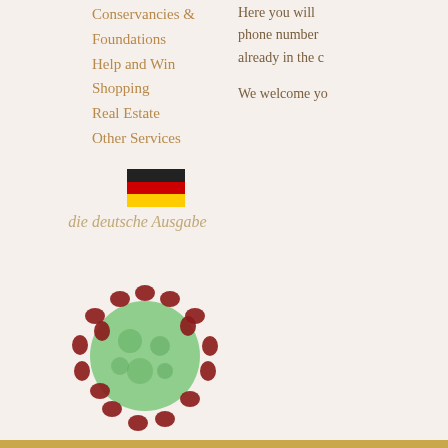Conservancies & Foundations
Help and Win
Shopping
Real Estate
Other Services
[Figure (illustration): German flag (black, red, gold horizontal stripes)]
die deutsche Ausgabe
Here you will phone number already in the c
We welcome yo
[Figure (illustration): 3D illustration of a coronavirus particle with green body and red spike proteins]
Trusted Travel